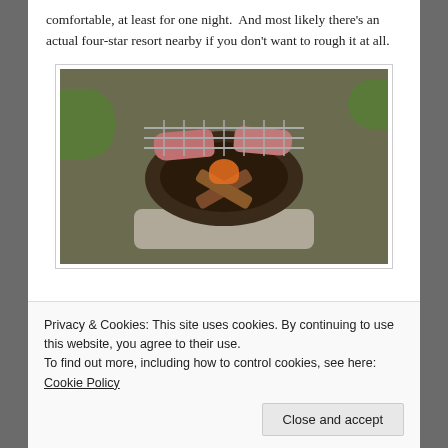comfortable, at least for one night.  And most likely there's an actual four-star resort nearby if you don't want to rough it at all.
[Figure (photo): A fire pit with meat on a grill grate, logs burning underneath, set on a concrete base surrounded by grass and dirt.]
Privacy & Cookies: This site uses cookies. By continuing to use this website, you agree to their use.
To find out more, including how to control cookies, see here: Cookie Policy
Sam's Point Preserve, where you can take a